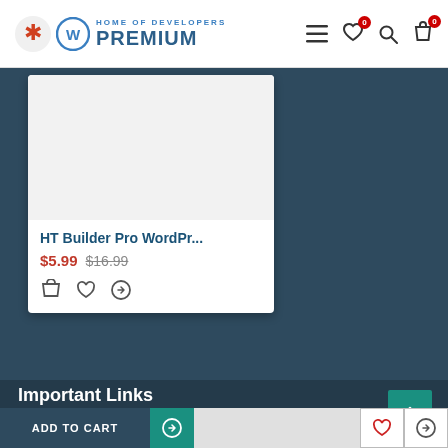HOME OF DEVELOPERS PREMIUM — navigation header with menu, wishlist (0), search, cart (0)
[Figure (screenshot): Product card for HT Builder Pro WordPress plugin showing white card with product image area, title, price $5.99 (original $16.99), and action icons (cart, wishlist, compare) on dark blue background]
Important Links
About Us
Privacy Policy
ADD TO CART button with shopping bag icon, wishlist and compare icons on right